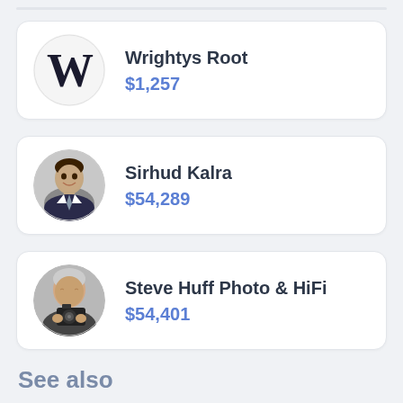Wrightys Root $1,257
Sirhud Kalra $54,289
Steve Huff Photo & HiFi $54,401
See also